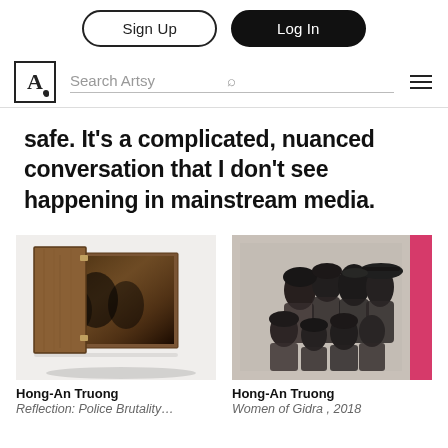Sign Up | Log In
[Figure (screenshot): Artsy website navigation bar with logo, search bar, and hamburger menu]
safe. It’s a complicated, nuanced conversation that I don’t see happening in mainstream media.
[Figure (photo): Artwork photo: Hong-An Truong, Reflection: Police Brutality... A wooden box frame with a photograph inside, displayed on a white surface]
[Figure (photo): Artwork photo: Hong-An Truong, Women of Gidra, 2018. Black and white group portrait of women displayed on a wall next to a pink wall strip]
Hong-An Truong
Reflection: Police Brutality…
Hong-An Truong
Women of Gidra , 2018